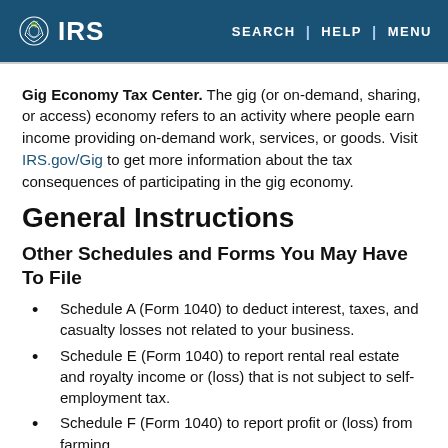IRS | SEARCH | HELP | MENU
Gig Economy Tax Center. The gig (or on-demand, sharing, or access) economy refers to an activity where people earn income providing on-demand work, services, or goods. Visit IRS.gov/Gig to get more information about the tax consequences of participating in the gig economy.
General Instructions
Other Schedules and Forms You May Have To File
Schedule A (Form 1040) to deduct interest, taxes, and casualty losses not related to your business.
Schedule E (Form 1040) to report rental real estate and royalty income or (loss) that is not subject to self-employment tax.
Schedule F (Form 1040) to report profit or (loss) from farming.